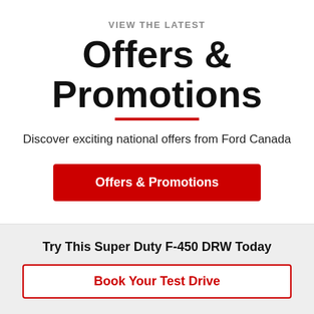VIEW THE LATEST
Offers & Promotions
Discover exciting national offers from Ford Canada
Offers & Promotions
Try This Super Duty F-450 DRW Today
Book Your Test Drive